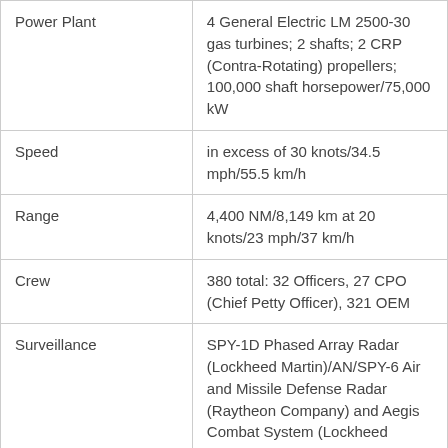| Power Plant | 4 General Electric LM 2500-30 gas turbines; 2 shafts; 2 CRP (Contra-Rotating) propellers; 100,000 shaft horsepower/75,000 kW |
| Speed | in excess of 30 knots/34.5 mph/55.5 km/h |
| Range | 4,400 NM/8,149 km at 20 knots/23 mph/37 km/h |
| Crew | 380 total: 32 Officers, 27 CPO (Chief Petty Officer), 321 OEM |
| Surveillance | SPY-1D Phased Array Radar (Lockheed Martin)/AN/SPY-6 Air and Missile Defense Radar (Raytheon Company) and Aegis Combat System (Lockheed Martin); SPS-73(V) Navigation; SPS- |